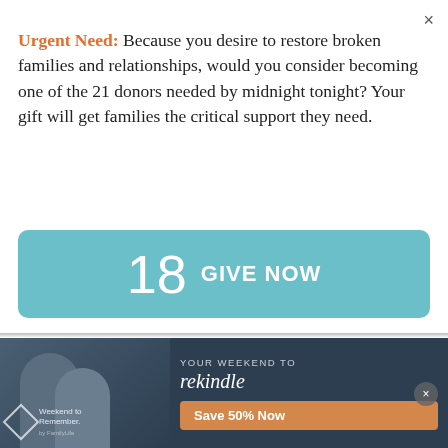×
Urgent Need: Because you desire to restore broken families and relationships, would you consider becoming one of the 21 donors needed by midnight tonight? Your gift will get families the critical support they need.
[Figure (other): Teal/blue button with number 18 and GIVE NOW text]
Show Notes    About the Guest
For more from Shaunti Feldhahn, visit Shaunti.com. https://shaunti.com
[Figure (other): Advertisement banner: YOUR WEEKEND TO rekindle - Weekend to Remember - Save 50% Now - dark blue background with couple photo]